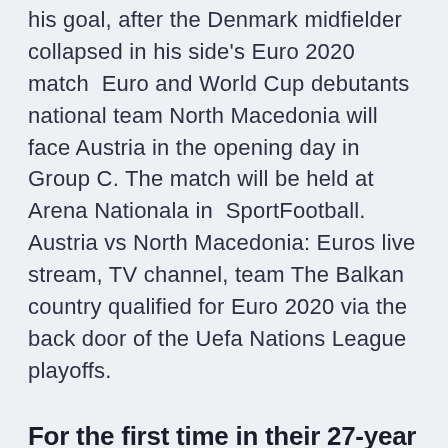his goal, after the Denmark midfielder collapsed in his side's Euro 2020 match  Euro and World Cup debutants national team North Macedonia will face Austria in the opening day in Group C. The match will be held at Arena Nationala in  SportFootball. Austria vs North Macedonia: Euros live stream, TV channel, team The Balkan country qualified for Euro 2020 via the back door of the Uefa Nations League playoffs.
For the first time in their 27-year history, North Macedonia will take part in a major tournament this summer when they compete on Europe's biggest stage at Euro 2020. After achieving